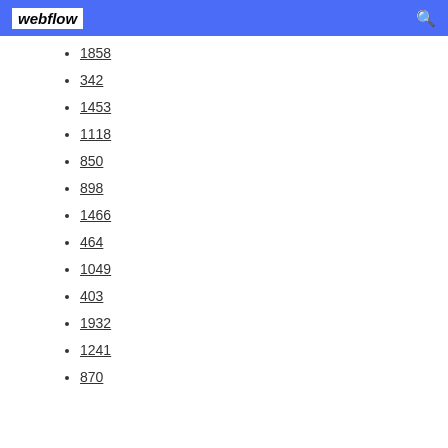webflow
1858
342
1453
1118
850
898
1466
464
1049
403
1932
1241
870